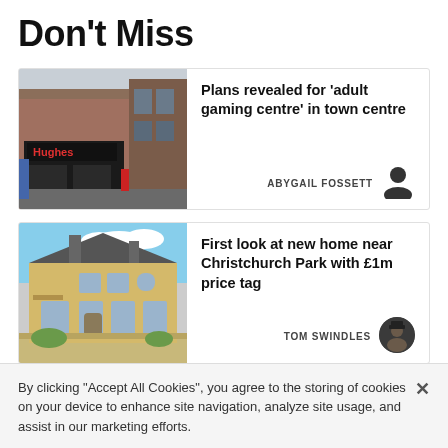Don't Miss
[Figure (photo): Street-level photo of a Hughes electronics store in a town centre high street]
Plans revealed for 'adult gaming centre' in town centre
ABYGAIL FOSSETT
[Figure (photo): Rendered image of a large Victorian-style stone house near Christchurch Park]
First look at new home near Christchurch Park with £1m price tag
TOM SWINDLES
By clicking "Accept All Cookies", you agree to the storing of cookies on your device to enhance site navigation, analyze site usage, and assist in our marketing efforts.